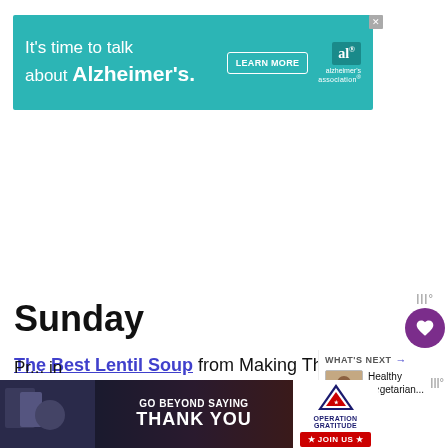[Figure (other): Alzheimer's Association advertisement banner: teal background with text "It's time to talk about Alzheimer's." with LEARN MORE button and alzheimer's association logo]
Sunday
The Best Lentil Soup from Making Th...
Health
[Figure (other): WHAT'S NEXT panel with thumbnail image and text 'Healthy Vegetarian...']
Pr... in
[Figure (other): Operation Gratitude advertisement banner: Go Beyond Saying Thank You with JOIN US button]